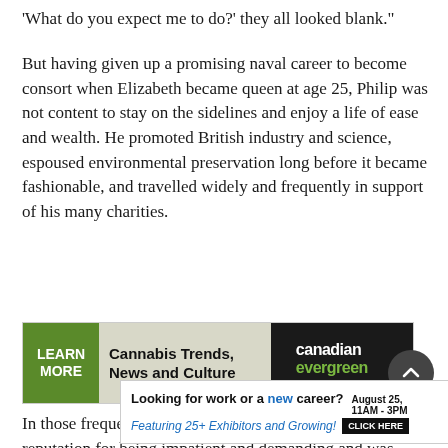'What do you expect me to do?' they all looked blank."
But having given up a promising naval career to become consort when Elizabeth became queen at age 25, Philip was not content to stay on the sidelines and enjoy a life of ease and wealth. He promoted British industry and science, espoused environmental preservation long before it became fashionable, and travelled widely and frequently in support of his many charities.
[Figure (infographic): Advertisement banner for Canadian Evergreen: 'LEARN MORE | Cannabis Trends, News and Culture | canadian evergreen | MUST BE 19 YEARS OF AGE']
In those frequent public appearances, Philip developed a reputation for being impatient and demanding and was
[Figure (infographic): Advertisement: 'Looking for work or a new career? August 25, 11AM - 3PM | Featuring 25+ Exhibitors and Growing! | CLICK HERE']